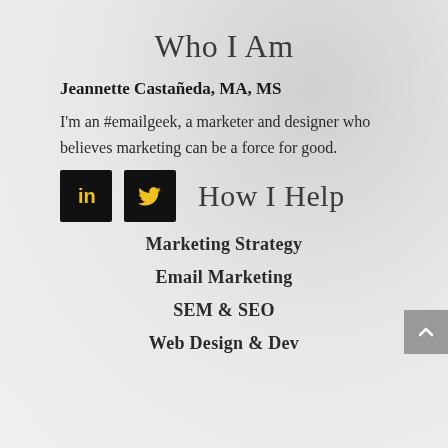Who I Am
Jeannette Castañeda, MA, MS
I'm an #emailgeek, a marketer and designer who believes marketing can be a force for good.
[Figure (other): LinkedIn and Twitter social media icon buttons (black square buttons with yellow icons)]
How I Help
Marketing Strategy
Email Marketing
SEM & SEO
Web Design & Dev